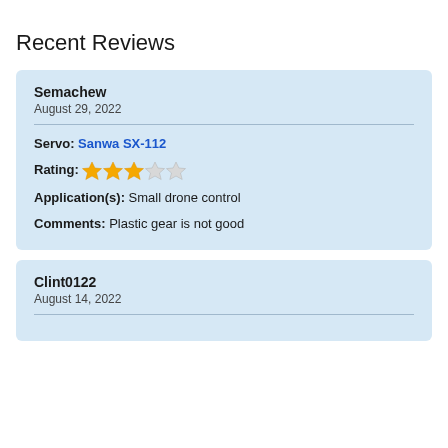Recent Reviews
Semachew
August 29, 2022
Servo: Sanwa SX-112
Rating: 3 out of 5 stars
Application(s): Small drone control
Comments: Plastic gear is not good
Clint0122
August 14, 2022